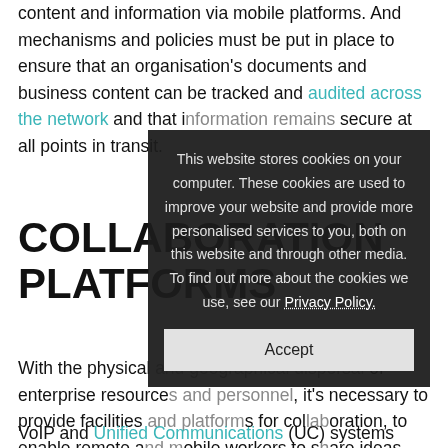content and information via mobile platforms. And mechanisms and policies must be put in place to ensure that an organisation's documents and business content can be tracked and audited across the network and that information remains secure at all points in transit.
COLLABORATION PLATFORMS
With the physical and geographical dispersal of enterprise resources and personnel, it's necessary to provide facilities and platforms for collaboration, to enable remote and mobile workers to share ideas, information and documents with their colleagues.
VoIP and Unified Communications (UC) systems combining digital telecommunications with business
[Figure (other): Cookie consent overlay popup with dark semi-transparent background. Text reads: 'This website stores cookies on your computer. These cookies are used to improve your website and provide more personalised services to you, both on this website and through other media. To find out more about the cookies we use, see our Privacy Policy.' with an Accept button.]